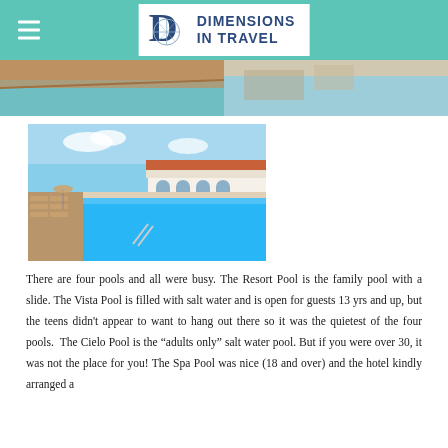Dimensions in Travel
[Figure (photo): Two partial travel photos side by side at top of page — left showing pool/tile, right showing outdoor scene]
[Figure (photo): Large photo of a resort outdoor pool with lounge chairs, umbrellas, and a Spanish-style white building in the background under a blue sky]
There are four pools and all were busy. The Resort Pool is the family pool with a slide. The Vista Pool is filled with salt water and is open for guests 13 yrs and up, but the teens didn't appear to want to hang out there so it was the quietest of the four pools. The Cielo Pool is the “adults only” salt water pool. But if you were over 30, it was not the place for you! The Spa Pool was nice (18 and over) and the hotel kindly arranged a